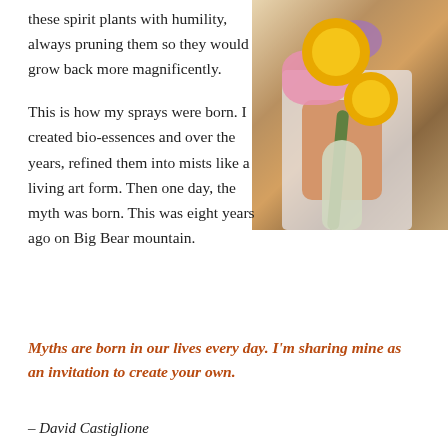these spirit plants with humility, always pruning them so they would grow back more magnificently.
[Figure (photo): Woman in striped top holding a large bouquet of dried flowers including sunflowers, pink flowers, purple blooms, and white sage bundle]
This is how my sprays were born. I created bio-essences and over the years, refined them into mists like a living art form. Then one day, the myth was born. This was eight years ago on Big Bear mountain.
Myths are born in our lives every day. I'm sharing mine as an invitation to create your own.
– David Castiglione